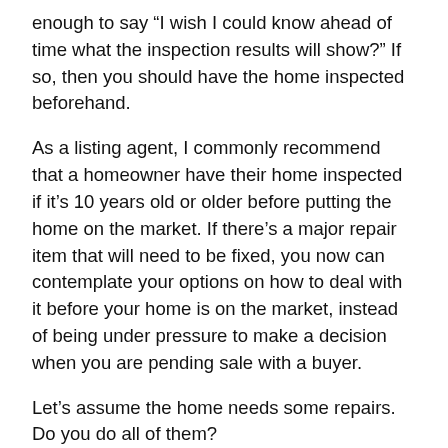enough to say “I wish I could know ahead of time what the inspection results will show?”  If so, then you should have the home inspected beforehand.
As a listing agent, I commonly recommend that a homeowner have their home inspected if it’s 10 years old or older before putting the home on the market.  If there’s a major repair item that will need to be fixed, you now can contemplate your options on how to deal with it before your home is on the market, instead of being under pressure to make a decision when you are pending sale with a buyer.
Let’s assume the home needs some repairs.  Do you do all of them?
In short, no.  When you review your report, focus on two things:  1. What are the most critical findings on the report?  2. Were there any other findings that are